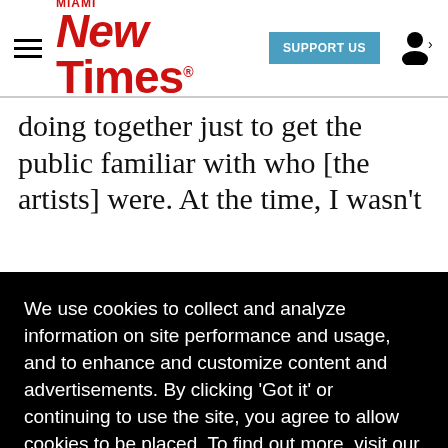Miami New Times | SUPPORT US
doing together just to get the public familiar with who [the artists] were. At the time, I wasn't
We use cookies to collect and analyze information on site performance and usage, and to enhance and customize content and advertisements. By clicking 'Got it' or continuing to use the site, you agree to allow cookies to be placed. To find out more, visit our cookies policy and our privacy policy.
Got it!
has earned accolades from industry moguls